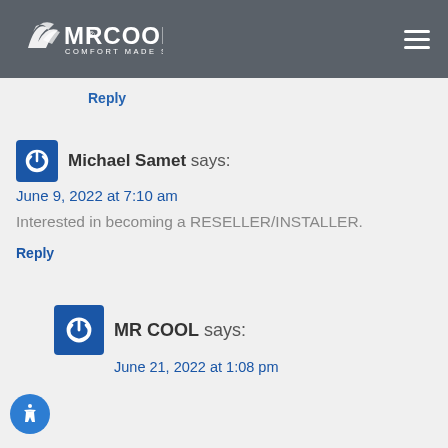MRCOOL – COMFORT MADE SIMPLE
Reply
Michael Samet says:
June 9, 2022 at 7:10 am
Interested in becoming a RESELLER/INSTALLER.
Reply
MR COOL says:
June 21, 2022 at 1:08 pm